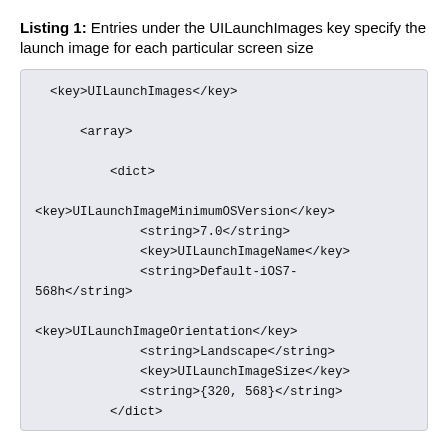Listing 1: Entries under the UILaunchImages key specify the launch image for each particular screen size
[Figure (screenshot): Code listing box showing XML plist entries with UILaunchImages key structure including UILaunchImageMinimumOSVersion, UILaunchImageName, UILaunchImageOrientation, UILaunchImageSize keys and their values]